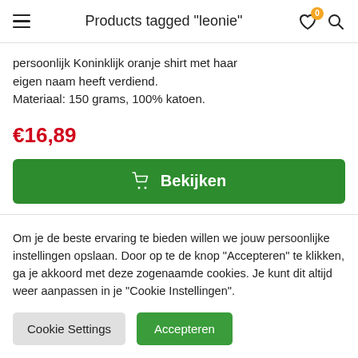Products tagged "leonie"
persoonlijk Koninklijk oranje shirt met haar eigen naam heeft verdiend.
Materiaal: 150 grams, 100% katoen.
€16,89
Bekijken
Om je de beste ervaring te bieden willen we jouw persoonlijke instellingen opslaan. Door op te de knop "Accepteren" te klikken, ga je akkoord met deze zogenaamde cookies. Je kunt dit altijd weer aanpassen in je "Cookie Instellingen".
Cookie Settings | Accepteren